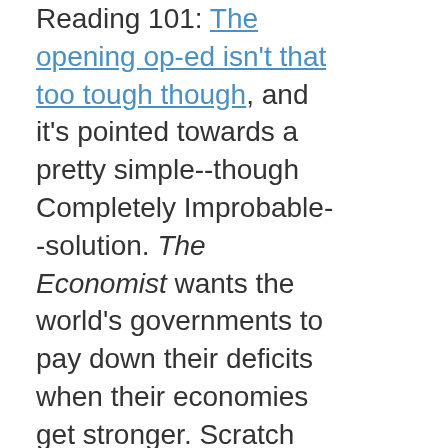Reading 101: The opening op-ed isn't that too tough though, and it's pointed towards a pretty simple--though Completely Improbable--solution. The Economist wants the world's governments to pay down their deficits when their economies get stronger. Scratch that, they want the world's governments to promise to do that. We'll see how that turns out. As the piece notes, the US is interested in